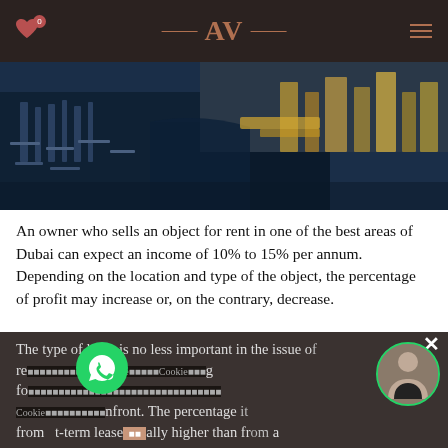AV — header with navigation
[Figure (photo): Aerial view of Dubai marina with yachts and city lights at dusk]
An owner who sells an object for rent in one of the best areas of Dubai can expect an income of 10% to 15% per annum. Depending on the location and type of the object, the percentage of profit may increase or, on the contrary, decrease.
The type of lease is no less important in the issue of re[cookie overlay text]...g for...established...Beachfront. The percentage...it from...short-term lease...ally higher than from a similar object put into operation, but with a long-term lease. What is the reason? To do this, you need